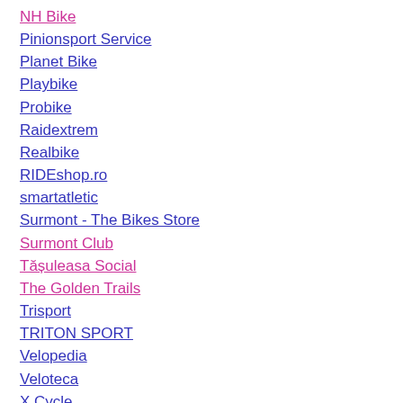NH Bike
Pinionsport Service
Planet Bike
Playbike
Probike
Raidextrem
Realbike
RIDEshop.ro
smartatletic
Surmont - The Bikes Store
Surmont Club
Tășuleasa Social
The Golden Trails
Trisport
TRITON SPORT
Velopedia
Veloteca
X Cycle
X-bike
Displaying 1 - 75 of 75